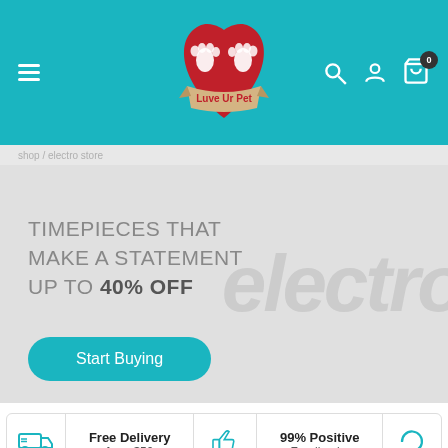[Figure (screenshot): Teal navigation header bar with hamburger menu on left, Luve Ur Pet logo (red heart with paw prints) in center, and search/user/cart icons on right]
TIMEPIECES THAT MAKE A STATEMENT UP TO 40% OFF
electro (watermark)
Start Buying
Free Delivery from $50
99% Positive Feedbacks